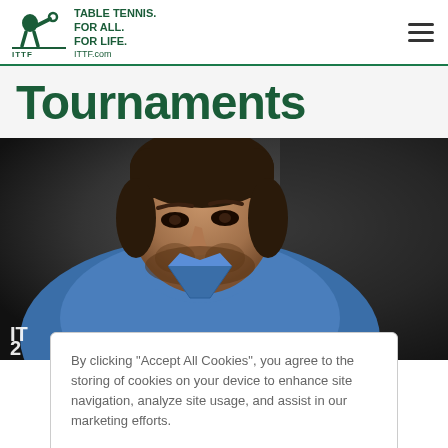[Figure (logo): ITTF logo with table tennis player silhouette and text: TABLE TENNIS. FOR ALL. FOR LIFE. ITTF.com]
Tournaments
[Figure (photo): A male table tennis player in a blue shirt leaning forward intently, shown in close-up against a dark background]
By clicking "Accept All Cookies", you agree to the storing of cookies on your device to enhance site navigation, analyze site usage, and assist in our marketing efforts.
Accept All Cookies